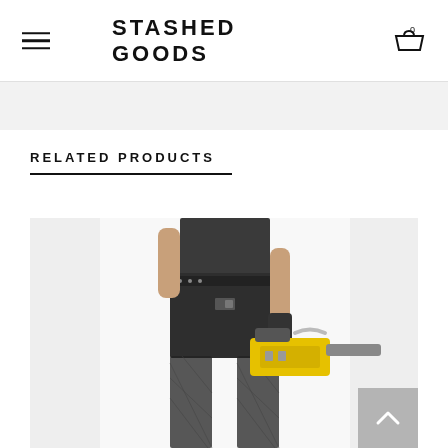STASHED GOODS
RELATED PRODUCTS
[Figure (photo): A person wearing a dark mini skirt with studded belt, fishnet stockings, and holding a yellow chainsaw. Fashion product photo on white/light grey background.]